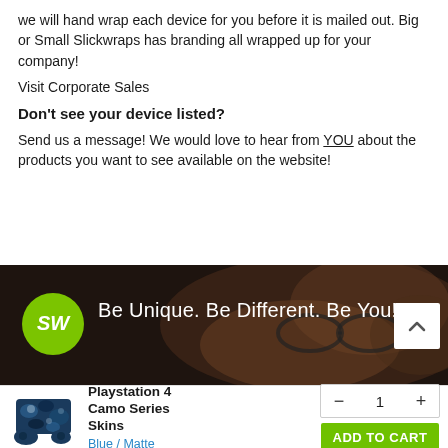we will hand wrap each device for you before it is mailed out. Big or Small Slickwraps has branding all wrapped up for your company!
Visit Corporate Sales
Don't see your device listed?
Send us a message! We would love to hear from YOU about the products you want to see available on the website!
[Figure (screenshot): Slickwraps banner with green SW logo and text 'Be Unique. Be Different. Be You!' on a dark background]
Playstation 4 Camo Series Skins — Blue / Matte — quantity 1 — ADD TO CART